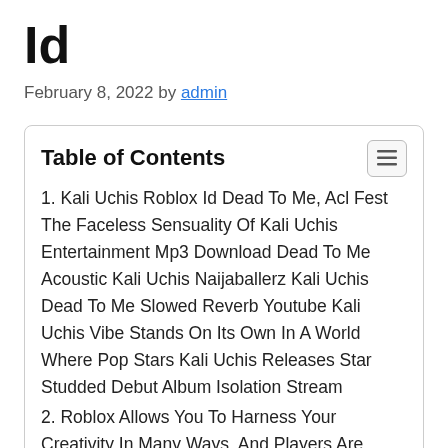Id
February 8, 2022 by admin
Table of Contents
1. Kali Uchis Roblox Id Dead To Me, Acl Fest The Faceless Sensuality Of Kali Uchis Entertainment Mp3 Download Dead To Me Acoustic Kali Uchis Naijaballerz Kali Uchis Dead To Me Slowed Reverb Youtube Kali Uchis Vibe Stands On Its Own In A World Where Pop Stars Kali Uchis Releases Star Studded Debut Album Isolation Stream
2. Roblox Allows You To Harness Your Creativity In Many Ways, And Players Are Often Looking For Fun New Ways To Make